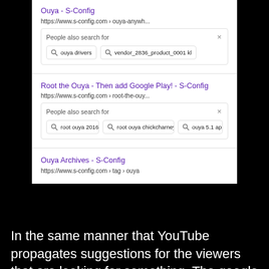[Figure (screenshot): Google search results screenshot showing 'Ouya - S-Config' result with URL https://www.s-config.com > ouya-anywh... and a 'People also search for' box with suggestions 'ouya drivers' and 'vendor_2836_product_0001 kl'. Below that, 'Root the Ouya - Then add Google Play! - S-Config' result with URL https://www.s-config.com > root-the-ouy... and another 'People also search for' box with suggestions 'root ouya 2016', 'root ouya chickcharney', 'ouya 5.1 ap'. Then 'Ouya Archives - S-Config' result with URL https://www.s-config.com > tag > ouya.]
In the same manner that YouTube propagates suggestions for the viewers that are looking for something. The google search engine adopts this same mentality for AMP as well. Google assumes that the majority of the web has no real idea of what they are looking for!